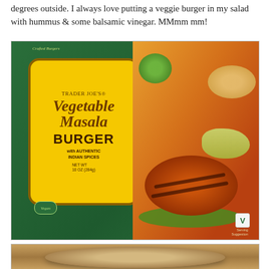degrees outside. I always love putting a veggie burger in my salad with hummus & some balsamic vinegar. MMmm mm!
[Figure (photo): Trader Joe's Vegetable Masala Burger box, green packaging with yellow label, showing a grilled veggie burger patty with sprouts, lettuce, and green chutney. NET WT 10 OZ (284g). Keep Frozen. Vegan. With Authentic Indian Spices. Serving Suggestion.]
[Figure (photo): Partial view of a metallic/stainless steel bowl from above, showing a shiny reflective surface.]